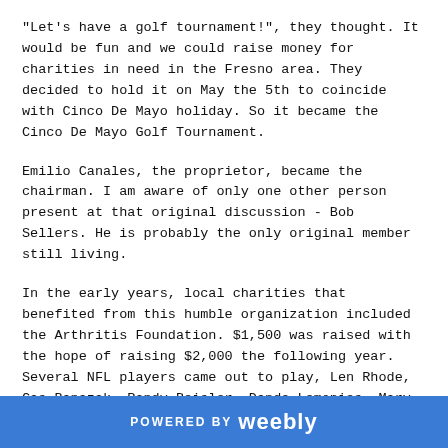"Let's have a golf tournament!", they thought. It would be fun and we could raise money for charities in need in the Fresno area. They decided to hold it on May the 5th to coincide with Cinco De Mayo holiday. So it became the Cinco De Mayo Golf Tournament.
Emilio Canales, the proprietor, became the chairman. I am aware of only one other person present at that original discussion - Bob Sellers. He is probably the only original member still living.
In the early years, local charities that benefited from this humble organization included the Arthritis Foundation. $1,500 was raised with the hope of raising $2,000 the following year. Several NFL players came out to play, Len Rhode, Cas Banazak, Randy Beisler, Dande Lemonies, Marv Hubbard, & Jim Otto…
POWERED BY weebly